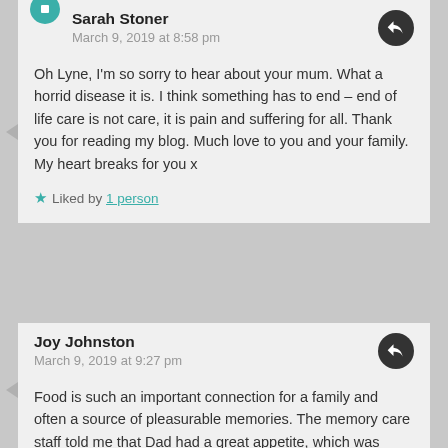Sarah Stoner
March 9, 2019 at 8:58 pm
Oh Lyne, I'm so sorry to hear about your mum. What a horrid disease it is. I think something has to end – end of life care is not care, it is pain and suffering for all. Thank you for reading my blog. Much love to you and your family. My heart breaks for you x
Liked by 1 person
Joy Johnston
March 9, 2019 at 9:27 pm
Food is such an important connection for a family and often a source of pleasurable memories. The memory care staff told me that Dad had a great appetite, which was some comfort to me.